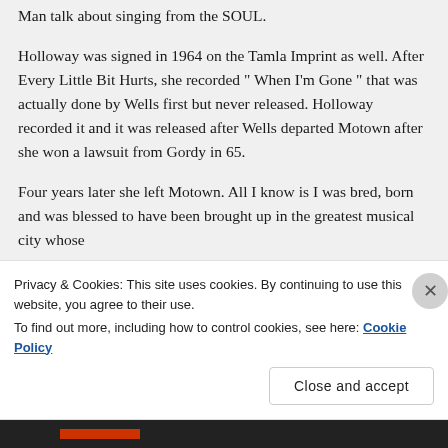Man talk about singing from the SOUL.
Holloway was signed in 1964 on the Tamla Imprint as well. After Every Little Bit Hurts, she recorded " When I'm Gone " that was actually done by Wells first but never released. Holloway recorded it and it was released after Wells departed Motown after she won a lawsuit from Gordy in 65.
Four years later she left Motown. All I know is I was bred, born and was blessed to have been brought up in the greatest musical city whose
Privacy & Cookies: This site uses cookies. By continuing to use this website, you agree to their use.
To find out more, including how to control cookies, see here: Cookie Policy